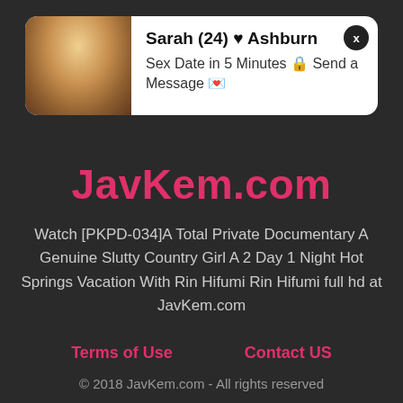[Figure (screenshot): Advertisement card with photo of a young blonde woman on the left, white card background, showing name Sarah (24) with heart and location Ashburn, subtext: Sex Date in 5 Minutes Send a Message, with X close button]
JavKem.com
Watch [PKPD-034]A Total Private Documentary A Genuine Slutty Country Girl A 2 Day 1 Night Hot Springs Vacation With Rin Hifumi Rin Hifumi full hd at JavKem.com
Terms of Use
Contact US
© 2018 JavKem.com - All rights reserved